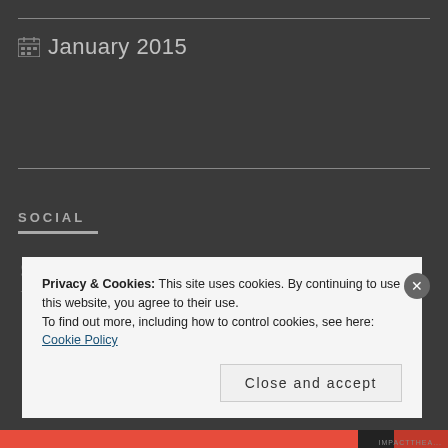January 2015
SOCIAL
[Figure (illustration): Twitter bird icon in gray]
Privacy & Cookies: This site uses cookies. By continuing to use this website, you agree to their use.
To find out more, including how to control cookies, see here: Cookie Policy
Close and accept